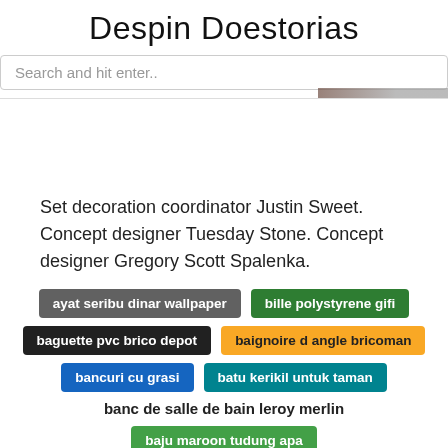Despin Doestorias
Search and hit enter..
Set decoration coordinator Justin Sweet. Concept designer Tuesday Stone. Concept designer Gregory Scott Spalenka.
ayat seribu dinar wallpaper
bille polystyrene gifi
baguette pvc brico depot
baignoire d angle bricoman
bancuri cu grasi
batu kerikil untuk taman
banc de salle de bain leroy merlin
baju maroon tudung apa